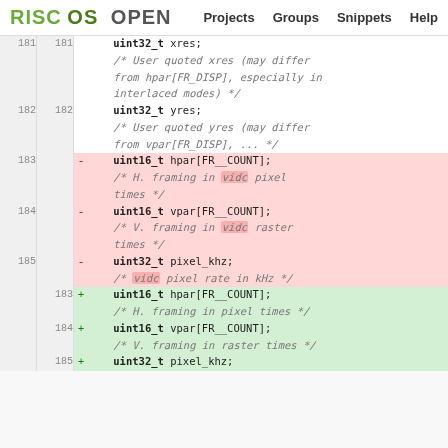RISC OS OPEN   Projects   Groups   Snippets   Help
[Figure (screenshot): Code diff view showing changes to a C struct. Lines 181-182 are neutral (uint32_t xres and yres). Lines 183-185 are deleted (red background): uint16_t hpar[FR__COUNT], uint16_t vpar[FR__COUNT], uint32_t pixel_khz with vidc references. Lines 183-185 are added (green background): same fields but without vidc references in comments.]